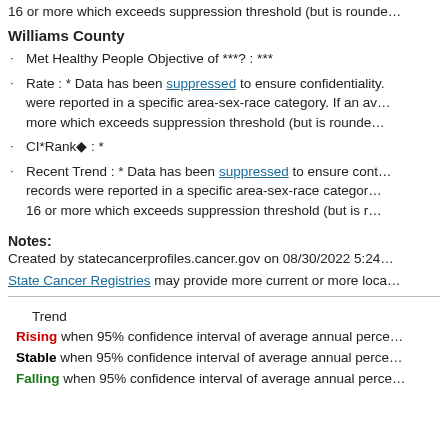16 or more which exceeds suppression threshold (but is rounde…
Williams County
Met Healthy People Objective of ***?: ***
Rate : * Data has been suppressed to ensure confidentiality. were reported in a specific area-sex-race category. If an av… more which exceeds suppression threshold (but is rounde…
CI*Rank⋄ : *
Recent Trend : * Data has been suppressed to ensure cont… records were reported in a specific area-sex-race categor… 16 or more which exceeds suppression threshold (but is r…
Notes:
Created by statecancerprofiles.cancer.gov on 08/30/2022 5:24…
State Cancer Registries may provide more current or more loca…
Trend
Rising when 95% confidence interval of average annual perce…
Stable when 95% confidence interval of average annual perce…
Falling when 95% confidence interval of average annual perce…